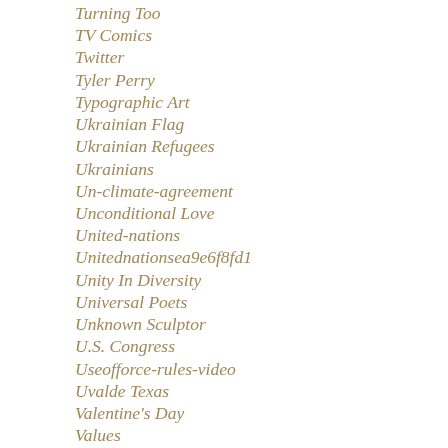Turning Too
TV Comics
Twitter
Tyler Perry
Typographic Art
Ukrainian Flag
Ukrainian Refugees
Ukrainians
Un-climate-agreement
Unconditional Love
United-nations
Unitednationsea9e6f8fd1
Unity In Diversity
Universal Poets
Unknown Sculptor
U.S. Congress
Useofforce-rules-video
Uvalde Texas
Valentine's Day
Values
Vanity Fair Magazine
Video